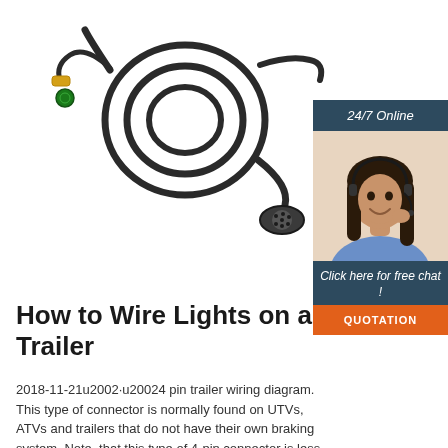[Figure (photo): Product photo of a black trailer wiring harness with coiled cable, a round 7-pin connector on one end and two smaller connectors (yellow and green) on the other end, on white background]
[Figure (photo): Sidebar advertisement: '24/7 Online' header in dark teal, photo of a smiling woman with headset in customer service pose, 'Click here for free chat!' text, and orange 'QUOTATION' button]
How to Wire Lights on a Trailer
2018-11-21u2002·u20024 pin trailer wiring diagram. This type of connector is normally found on UTVs, ATVs and trailers that do not have their own braking system. Note, that this type of 4-pin connector is less common, that 4-pin flat